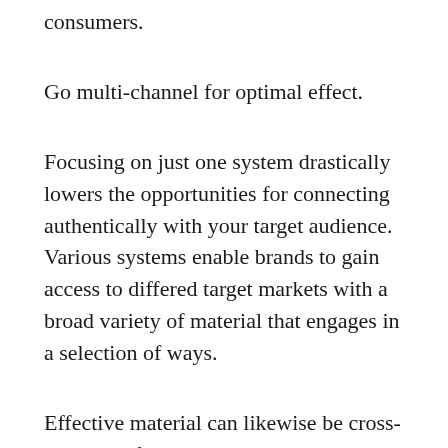consumers.
Go multi-channel for optimal effect.
Focusing on just one system drastically lowers the opportunities for connecting authentically with your target audience. Various systems enable brands to gain access to differed target markets with a broad variety of material that engages in a selection of ways.
Effective material can likewise be cross-promoted from one social system to another. For instance, if a TikTok blog post is acquiring energy, try sharing it through Instagram Stories– or share an Instagram article through